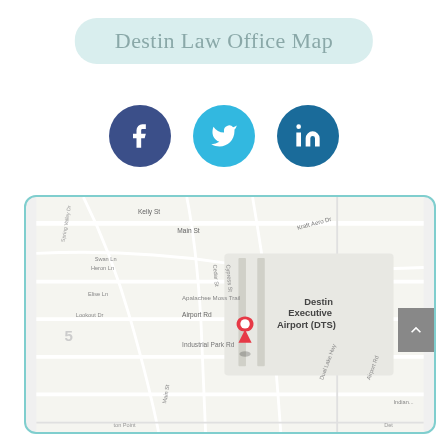Destin Law Office Map
[Figure (map): Google Maps view of Destin, FL area showing location near Destin Executive Airport (DTS) with a red map pin marker. Streets visible include Kelly St, Main St, Airport Rd, Industrial Park Rd, Apalachee Moss Trail, and others.]